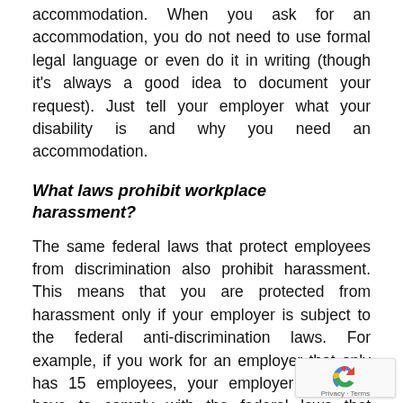accommodation. When you ask for an accommodation, you do not need to use formal legal language or even do it in writing (though it's always a good idea to document your request). Just tell your employer what your disability is and why you need an accommodation.
What laws prohibit workplace harassment?
The same federal laws that protect employees from discrimination also prohibit harassment. This means that you are protected from harassment only if your employer is subject to the federal anti-discrimination laws. For example, if you work for an employer that only has 15 employees, your employer does not have to comply with the federal laws that prohibit discrimination based on age-so you are not protected from harassment based on your age.